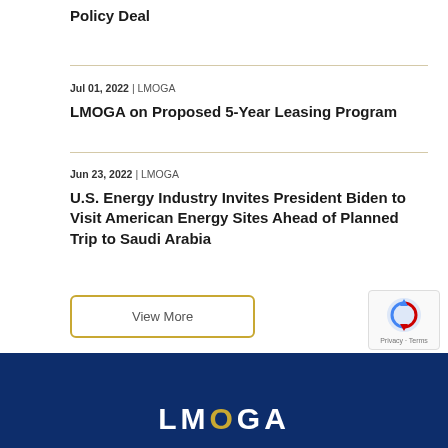Policy Deal
Jul 01, 2022 | LMOGA
LMOGA on Proposed 5-Year Leasing Program
Jun 23, 2022 | LMOGA
U.S. Energy Industry Invites President Biden to Visit American Energy Sites Ahead of Planned Trip to Saudi Arabia
View More
LMOGA